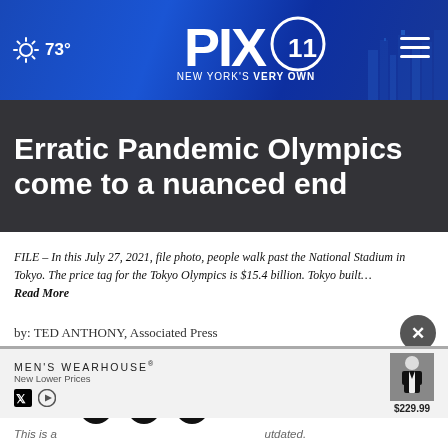73° PIX11 NEW YORK'S VERY OWN
Erratic Pandemic Olympics come to a nuanced end
FILE – In this July 27, 2021, file photo, people walk past the National Stadium in Tokyo. The price tag for the Tokyo Olympics is $15.4 billion. Tokyo built… Read More
by: TED ANTHONY, Associated Press
Posted: Aug 8, 2021 / 01:14 PM EDT
Updated: Aug 8, 2021 / 01:14 PM EDT
SHARE
[Figure (screenshot): Men's Wearhouse advertisement showing a man in a tuxedo, price $229.99, New Lower Prices]
This is a ... utdated.